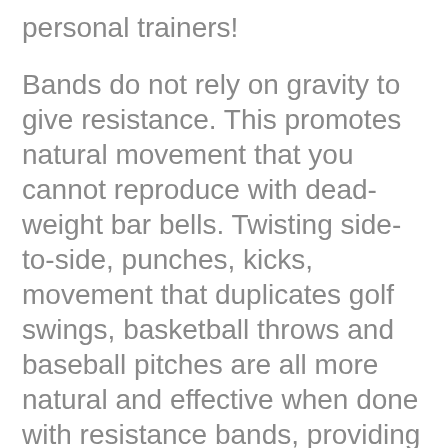personal trainers!
Bands do not rely on gravity to give resistance. This promotes natural movement that you cannot reproduce with dead-weight bar bells. Twisting side-to-side, punches, kicks, movement that duplicates golf swings, basketball throws and baseball pitches are all more natural and effective when done with resistance bands, providing you with a constant free range of motion.
Overall, they are a safer way to exercise, and are an inexpensive alternative to and be used to improve life